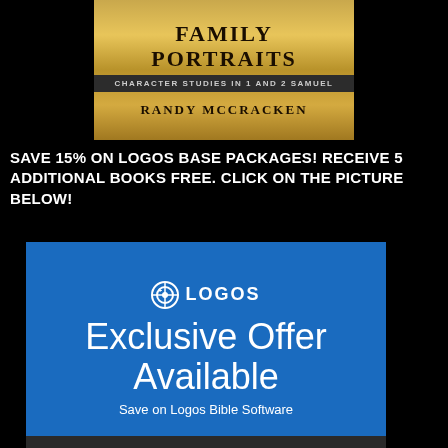[Figure (illustration): Book cover for 'Family Portraits: Character Studies in 1 and 2 Samuel' by Randy McCracken. Gold/bronze colored cover with dark band subtitle area.]
SAVE 15% ON LOGOS BASE PACKAGES! RECEIVE 5 ADDITIONAL BOOKS FREE. CLICK ON THE PICTURE BELOW!
[Figure (infographic): Logos Bible Software advertisement banner with blue background showing 'Exclusive Offer Available - Save on Logos Bible Software' with Logos brand icon and '> Learn More' button at bottom.]